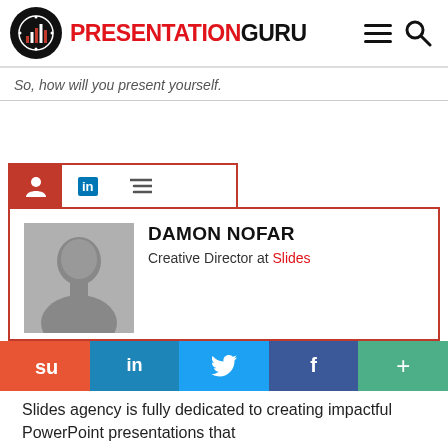PRESENTATION GURU
So, how will you present yourself.
[Figure (illustration): Author card section with tabs (person icon, LinkedIn icon, list icon), showing Damon Nofar's profile photo (black and white headshot), name, title 'Creative Director at Slides', and bio text about being founder and creative director at Slides.]
Damon is the founder and creative director at Slides – a leading presentation design agency helping some of the world's top brands present their ideas with more
Slides agency is fully dedicated to creating impactful PowerPoint presentations that